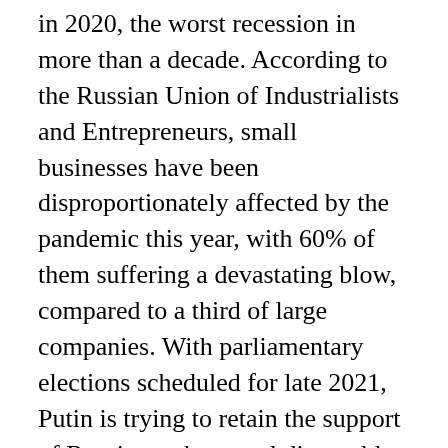in 2020, the worst recession in more than a decade. According to the Russian Union of Industrialists and Entrepreneurs, small businesses have been disproportionately affected by the pandemic this year, with 60% of them suffering a devastating blow, compared to a third of large companies. With parliamentary elections scheduled for late 2021, Putin is trying to retain the support of Russians whose real disposable income has fallen in recent years and whose standard of living has declined. –Andrew Restuccia contributed to this article. Write to Georgi Kantchev at georgi.kantchev@wsj.com and to